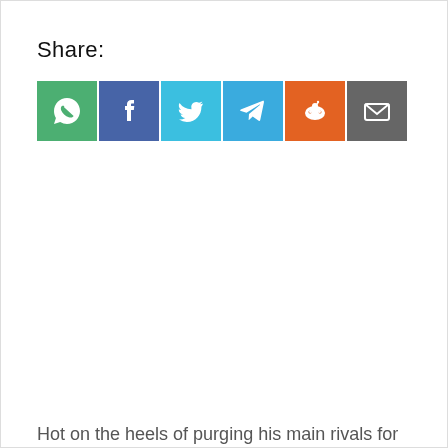Share:
[Figure (infographic): Row of six social media share buttons: WhatsApp (green), Facebook (dark blue), Twitter (light blue), Telegram (blue), Reddit (orange), Email (dark grey)]
Hot on the heels of purging his main rivals for